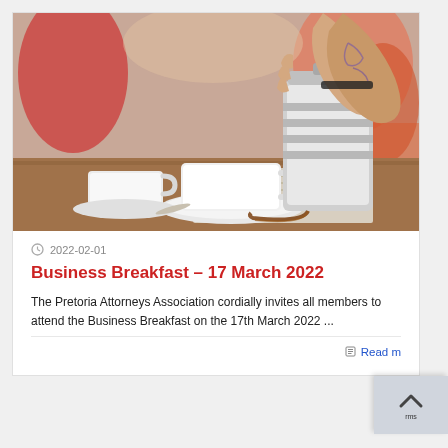[Figure (photo): A tattooed hand pouring coffee from a stainless steel French press into a white ceramic cup on a saucer, with another white cup in the foreground, set on a wooden table in a busy cafe with warm blurred background.]
2022-02-01
Business Breakfast – 17 March 2022
The Pretoria Attorneys Association cordially invites all members to attend the Business Breakfast on the 17th March 2022 ...
Read more